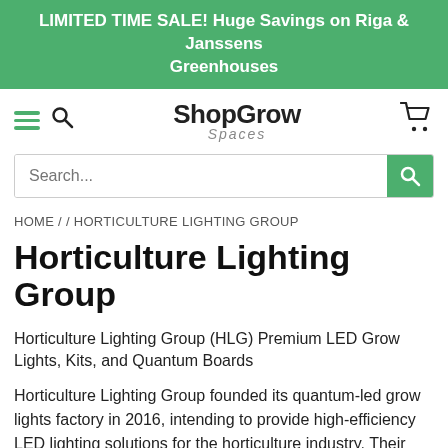LIMITED TIME SALE! Huge Savings on Riga & Janssens Greenhouses
[Figure (logo): ShopGrow Spaces logo with hamburger menu, search icon, and cart icon in navigation bar]
Search...
HOME / / HORTICULTURE LIGHTING GROUP
Horticulture Lighting Group
Horticulture Lighting Group (HLG) Premium LED Grow Lights, Kits, and Quantum Boards
Horticulture Lighting Group founded its quantum-led grow lights factory in 2016, intending to provide high-efficiency LED lighting solutions for the horticulture industry. Their attention to detail and commitment to using the latest technology has resulted in some of the best indoor